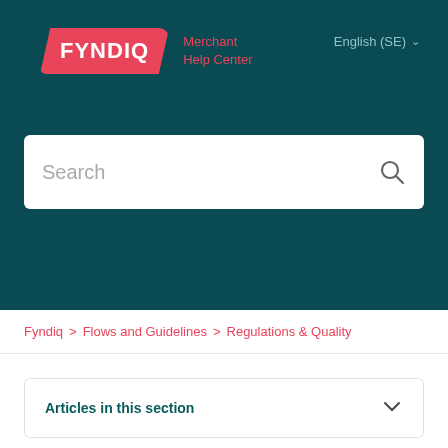[Figure (logo): Fyndiq logo - pink badge with white text FYNDIQ]
Merchant Help Center
English (SE)
Search
Fyndiq > Flows and Guidelines > Regulations & Quality
Articles in this section